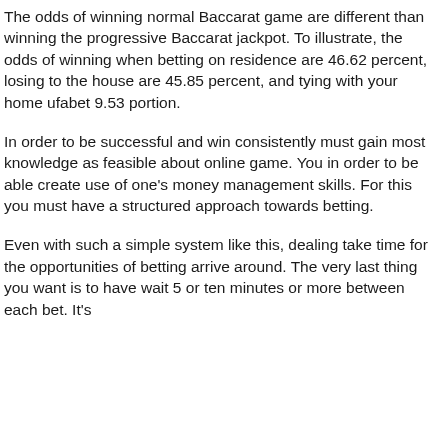The odds of winning normal Baccarat game are different than winning the progressive Baccarat jackpot. To illustrate, the odds of winning when betting on residence are 46.62 percent, losing to the house are 45.85 percent, and tying with your home ufabet 9.53 portion.
In order to be successful and win consistently must gain most knowledge as feasible about online game. You in order to be able create use of one's money management skills. For this you must have a structured approach towards betting.
Even with such a simple system like this, dealing take time for the opportunities of betting arrive around. The very last thing you want is to have wait 5 or ten minutes or more between each bet. It's